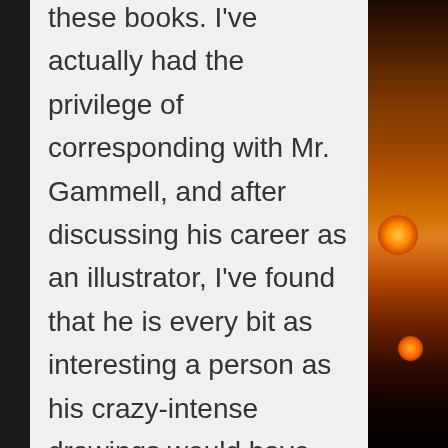these books. I've actually had the privilege of corresponding with Mr. Gammell, and after discussing his career as an illustrator, I've found that he is every bit as interesting a person as his crazy-intense drawings would have you believe. Ironically, his